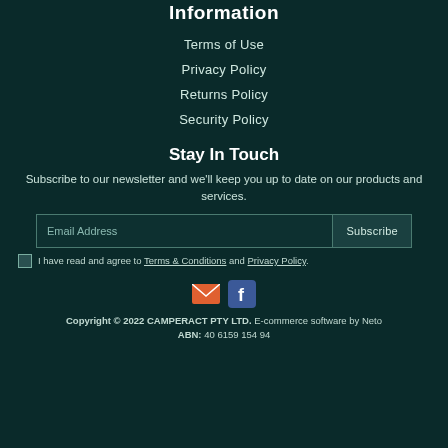Information
Terms of Use
Privacy Policy
Returns Policy
Security Policy
Stay In Touch
Subscribe to our newsletter and we'll keep you up to date on our products and services.
Email Address | Subscribe
I have read and agree to Terms & Conditions and Privacy Policy.
Copyright © 2022 CAMPERACT PTY LTD. E-commerce software by Neto ABN: 40 6159 154 94